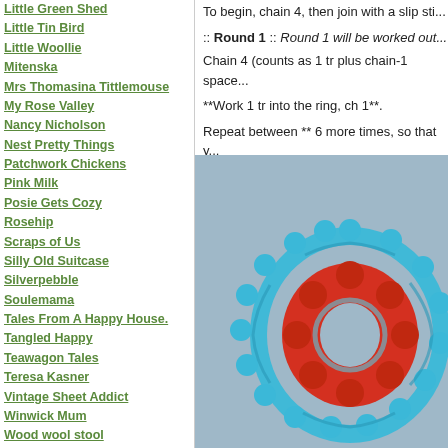Little Green Shed
Little Tin Bird
Little Woollie
Mitenska
Mrs Thomasina Tittlemouse
My Rose Valley
Nancy Nicholson
Nest Pretty Things
Patchwork Chickens
Pink Milk
Posie Gets Cozy
Rosehip
Scraps of Us
Silly Old Suitcase
Silverpebble
Soulemama
Tales From A Happy House.
Tangled Happy
Teawagon Tales
Teresa Kasner
Vintage Sheet Addict
Winwick Mum
Wood wool stool
Yvestown
Patterns and Tutorials
To begin, chain 4, then join with a slip sti...
:: Round 1 :: Round 1 will be worked out...
Chain 4 (counts as 1 tr plus chain-1 space...
**Work 1 tr into the ring, ch 1**.
Repeat between ** 6 more times, so that... 3rd chain of initial chain-4 to join the roun...
[Figure (photo): Close-up photo of a crocheted granny square with red center and blue outer round, on a grey background.]